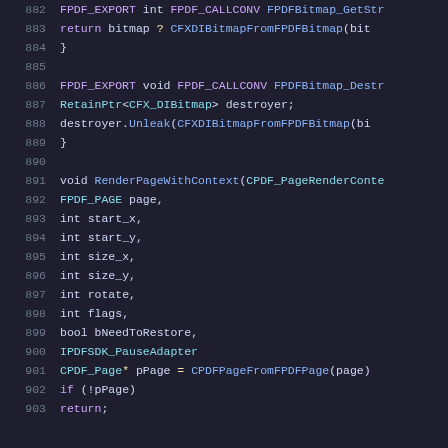[Figure (screenshot): Source code viewer showing C++ code lines 882-903 with syntax highlighting on dark background. Purple keywords, blue function names, teal type names, white default text.]